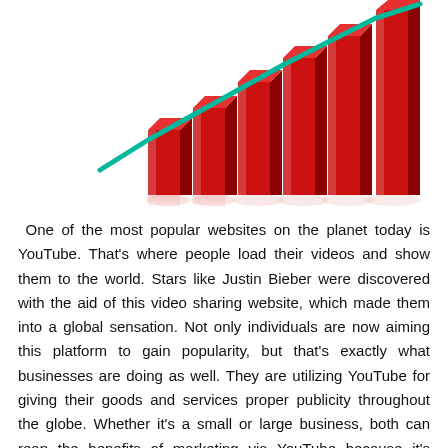[Figure (bar-chart): 3D red bar chart with ascending bars and a green upward-trending line overlay, cropped at top — illustrating growth trend.]
One of the most popular websites on the planet today is YouTube. That's where people load their videos and show them to the world. Stars like Justin Bieber were discovered with the aid of this video sharing website, which made them into a global sensation. Not only individuals are now aiming this platform to gain popularity, but that's exactly what businesses are doing as well. They are utilizing YouTube for giving their goods and services proper publicity throughout the globe. Whether it's a small or large business, both can reap the benefits of marketing via YouTube because it's almost